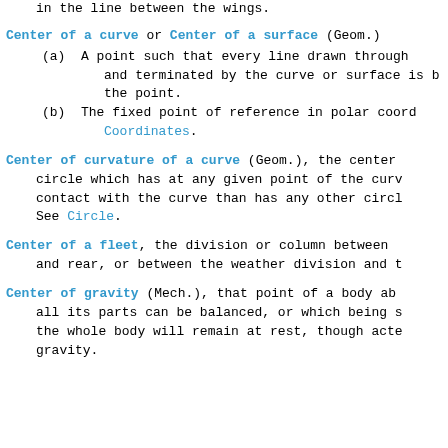center of an army, the body of troops occupying the in the line between the wings.
Center of a curve or Center of a surface (Geom.)
(a) A point such that every line drawn through and terminated by the curve or surface is b the point.
(b) The fixed point of reference in polar coord Coordinates.
Center of curvature of a curve (Geom.), the center circle which has at any given point of the curv contact with the curve than has any other circl See Circle.
Center of a fleet, the division or column between and rear, or between the weather division and t
Center of gravity (Mech.), that point of a body ab all its parts can be balanced, or which being s the whole body will remain at rest, though acte gravity.